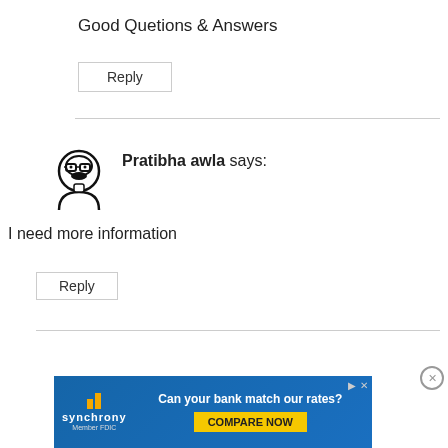Good Quetions & Answers
Reply
Pratibha awla says:
I need more information
Reply
[Figure (illustration): Synchrony bank advertisement banner with logo bars in yellow, tagline 'Can your bank match our rates?' and a yellow COMPARE NOW button. Member FDIC text visible.]